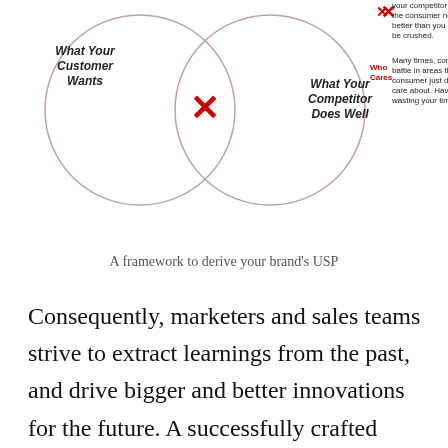[Figure (infographic): Venn diagram showing overlapping circles for 'What Your Customer Wants' and 'What Your Competitor Does Well', with a red X at the intersection. On the right side, two legend items: a red X icon with text 'your competitor meets the consumer needs better than you do. You'll be crushed.' and a red 'Who Cares' label with text 'Many times, competitors battle in areas the consumer just doesn't care about. Have fun wasting your time.']
A framework to derive your brand's USP
Consequently, marketers and sales teams strive to extract learnings from the past, and drive bigger and better innovations for the future. A successfully crafted proposition creates an imprint in the target consumers' minds to the point that they think of the brand synonymously with the product. Example: